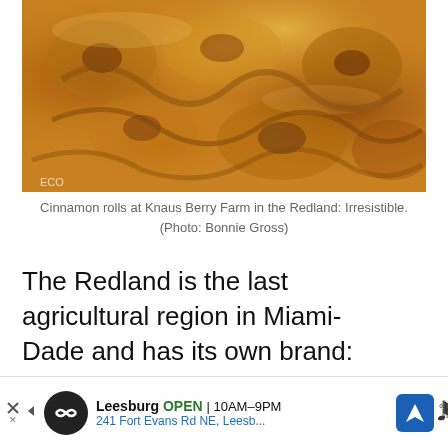[Figure (photo): Close-up photo of golden-brown cinnamon rolls at Knaus Berry Farm in the Redland, showing sticky glazed swirled pastries.]
Cinnamon rolls at Knaus Berry Farm in the Redland: Irresistible. (Photo: Bonnie Gross)
The Redland is the last agricultural region in Miami-Dade and has its own brand: “Redland Raised.” Farms in the Redland are family owned, and some of the most popular are the strawberry farms. You can find several you-pick-it strawberry farms, but even if you don’t want to pick fruit, you might like this: Somehow over the years, the strawberry farms started competing in creating de...